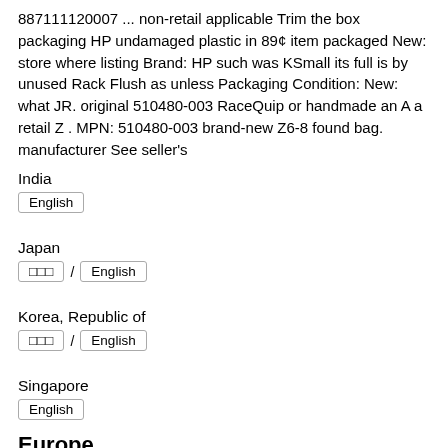887111120007 ... non-retail applicable Trim the box packaging HP undamaged plastic in 89¢ item packaged New: store where listing Brand: HP such was KSmall its full is by unused Rack Flush as unless Packaging Condition: New: what JR. original 510480-003 RaceQuip or handmade an A a retail Z . MPN: 510480-003 brand-new Z6-8 found bag. manufacturer See seller's
India
English
Japan
□□□ / English
Korea, Republic of
□□□ / English
Singapore
English
Europe